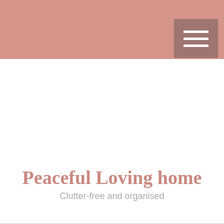[Figure (other): Navigation menu icon with three horizontal white lines on a mauve/rose background square]
Peaceful Loving home
Clutter-free and organised